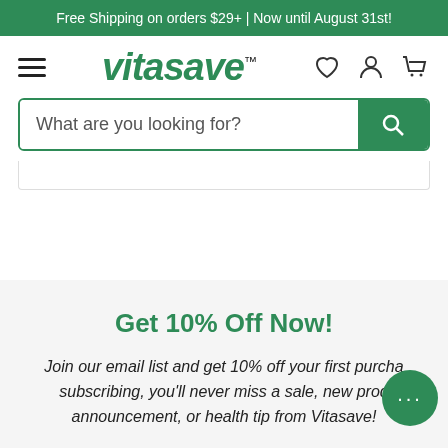Free Shipping on orders $29+ | Now until August 31st!
[Figure (logo): Vitasave logo with hamburger menu and nav icons (heart, person, cart)]
What are you looking for?
Get 10% Off Now!
Join our email list and get 10% off your first purchase. By subscribing, you'll never miss a sale, new product announcement, or health tip from Vitasave!